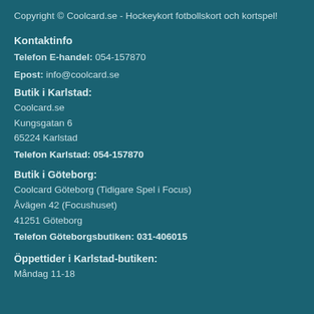Copyright © Coolcard.se - Hockeykort fotbollskort och kortspel!
Kontaktinfo
Telefon E-handel: 054-157870
Epost: info@coolcard.se
Butik i Karlstad:
Coolcard.se
Kungsgatan 6
65224 Karlstad
Telefon Karlstad: 054-157870
Butik i Göteborg:
Coolcard Göteborg (Tidigare Spel i Focus)
Åvägen 42 (Focushuset)
41251 Göteborg
Telefon Göteborgsbutiken: 031-406015
Öppettider i Karlstad-butiken:
Måndag 11-18